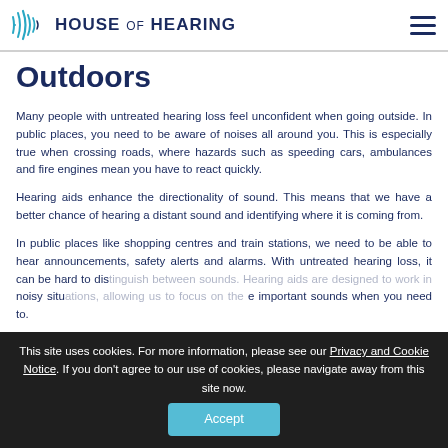House of Hearing
Outdoors
Many people with untreated hearing loss feel unconfident when going outside. In public places, you need to be aware of noises all around you. This is especially true when crossing roads, where hazards such as speeding cars, ambulances and fire engines mean you have to react quickly.
Hearing aids enhance the directionality of sound. This means that we have a better chance of hearing a distant sound and identifying where it is coming from.
In public places like shopping centres and train stations, we need to be able to hear announcements, safety alerts and alarms. With untreated hearing loss, it can be hard to distinguish between sounds. Hearing aids are designed to work in noisy situations, allowing us to focus on the important sounds when you need to.
This site uses cookies. For more information, please see our Privacy and Cookie Notice. If you don't agree to our use of cookies, please navigate away from this site now.